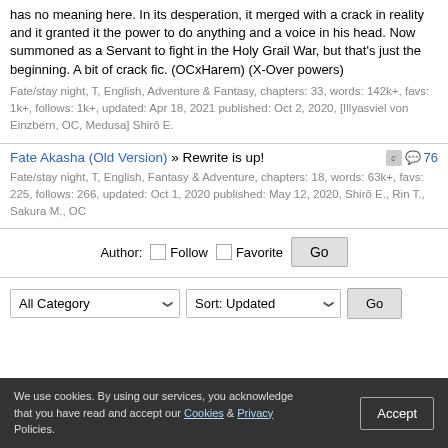has no meaning here. In its desperation, it merged with a crack in reality and it granted it the power to do anything and a voice in his head. Now summoned as a Servant to fight in the Holy Grail War, but that's just the beginning. A bit of crack fic. (OCxHarem) (X-Over powers)
Fate/stay night, T, English, Adventure & Fantasy, chapters: 33, words: 142k+, favs: 1k+, follows: 1k+, updated: Apr 18, 2021 published: Oct 2, 2020, [Illyasviel von Einzbern, OC, Medusa] Shirō E.
Fate Akasha (Old Version) » Rewrite is up!
Fate/stay night, T, English, Fantasy & Adventure, chapters: 18, words: 63k+, favs: 225, follows: 266, updated: Oct 1, 2020 published: May 12, 2020, Shirō E., Rin T., Sakura M., OC
Author: Follow Favorite Go
All Category Sort: Updated Go
We use cookies. By using our services, you acknowledge that you have read and accept our Cookies & Privacy Policies. Accept